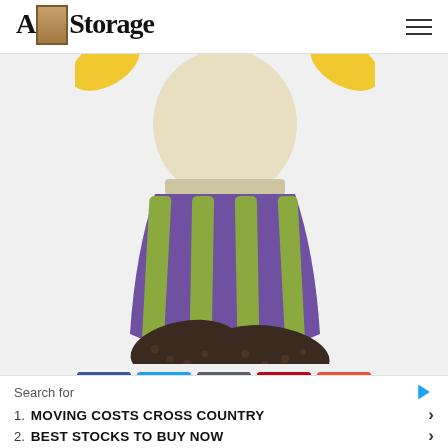A Storage
[Figure (illustration): Partial illustration of a cartoon character showing torso, striped purple and green pants/skirt, and dark shoes. Yellow elements visible at top. White/cream top. Character appears to be from a children's book or cartoon.]
[Figure (infographic): Social sharing buttons: Facebook (blue), Twitter (light blue), Email (dark gray), Pinterest (red), Plus/More (orange-red)]
Search for
1. MOVING COSTS CROSS COUNTRY
2. BEST STOCKS TO BUY NOW
Yahoo! Search | Sponsored